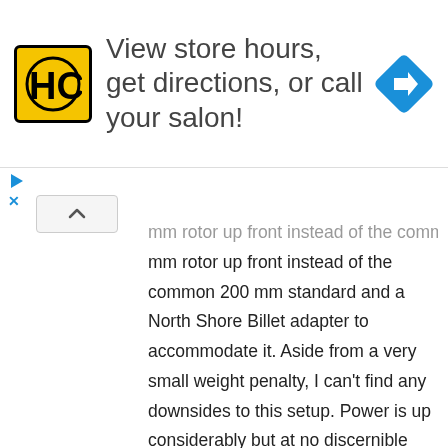[Figure (logo): Advertisement banner with HC salon logo (black H and C letters in yellow square), text 'View store hours, get directions, or call your salon!', and blue navigation diamond icon on the right]
mm rotor up front instead of the common 200 mm standard and a North Shore Billet adapter to accommodate it. Aside from a very small weight penalty, I can't find any downsides to this setup. Power is up considerably but at no discernible impact to the outstanding modulation and reliability that Hope brakes are known for. Another nice upside to this setup is that brake pads last noticeably longer. For wheels, I dusted off the Race Face wheels I reviewed back in 2018 comprised of ARC 31 carbon rims, Vault hubs, and Sapim CX-Ray spokes. These wheels have proven incredibly durable and low maintenance despite being subjected to a ton of abuse. For tires, I'm running a 2.5 Assegai in